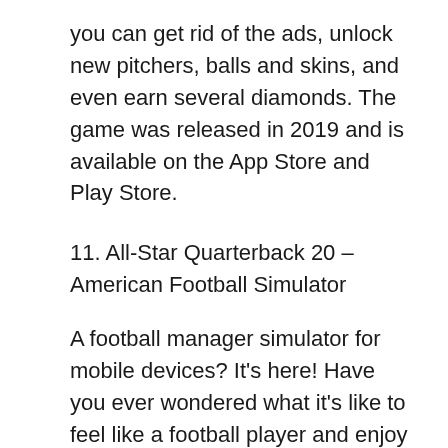you can get rid of the ads, unlock new pitchers, balls and skins, and even earn several diamonds. The game was released in 2019 and is available on the App Store and Play Store.
11. All-Star Quarterback 20 – American Football Simulator
A football manager simulator for mobile devices? It's here! Have you ever wondered what it's like to feel like a football player and enjoy life? This game answers all your questions. They play games, win them, and rise in the standings. As you move up the career ladder and continue to make money, you can spend it on other things, for example. For example, for a house, vehicles or anything else